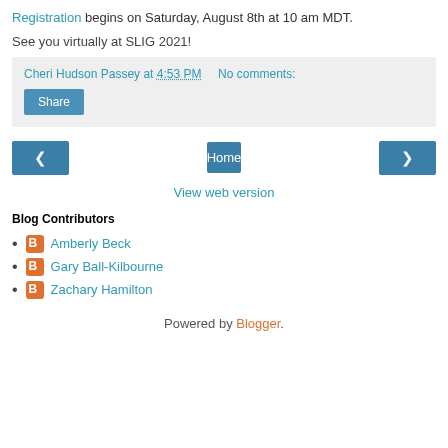Registration begins on Saturday, August 8th at 10 am MDT.
See you virtually at SLIG 2021!
Cheri Hudson Passey at 4:53 PM    No comments:
Share
Home
View web version
Blog Contributors
Amberly Beck
Gary Ball-Kilbourne
Zachary Hamilton
Powered by Blogger.